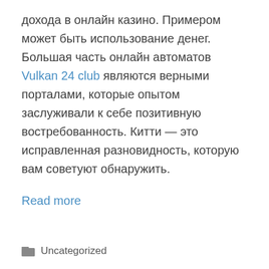дохода в онлайн казино. Примером может быть использование денег. Большая часть онлайн автоматов Vulkan 24 club являются верными порталами, которые опытом заслуживали к себе позитивную востребованность. Китти — это исправленная разновидность, которую вам советуют обнаружить.
Read more
Uncategorized
Most readily useful Gay Hookup Websites of 2021